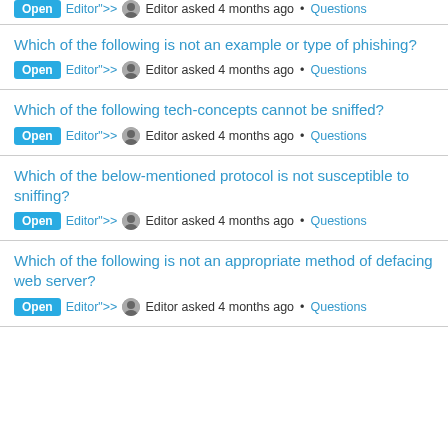Open  Editor"> Editor asked 4 months ago • Questions
Which of the following is not an example or type of phishing?
Open  Editor"> Editor asked 4 months ago • Questions
Which of the following tech-concepts cannot be sniffed?
Open  Editor"> Editor asked 4 months ago • Questions
Which of the below-mentioned protocol is not susceptible to sniffing?
Open  Editor"> Editor asked 4 months ago • Questions
Which of the following is not an appropriate method of defacing web server?
Open  Editor"> Editor asked 4 months ago • Questions